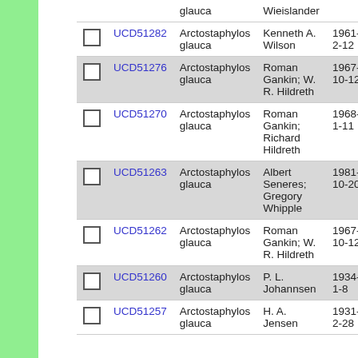|  | ID | Species | Collector | Date | Accession |
| --- | --- | --- | --- | --- | --- |
|  | glauca | Wieislander |  |  |
| ☐ | UCD51282 | Arctostaphylos glauca | Kenneth A. Wilson | 1961-2-12 | 845 |
| ☐ | UCD51276 | Arctostaphylos glauca | Roman Gankin; W. R. Hildreth | 1967-10-12 | 11 |
| ☐ | UCD51270 | Arctostaphylos glauca | Roman Gankin; Richard Hildreth | 1968-1-11 | 124 |
| ☐ | UCD51263 | Arctostaphylos glauca | Albert Seneres; Gregory Whipple | 1981-10-20 | 81 |
| ☐ | UCD51262 | Arctostaphylos glauca | Roman Gankin; W. R. Hildreth | 1967-10-12 | 11 |
| ☐ | UCD51260 | Arctostaphylos glauca | P. L. Johannsen | 1934-1-8 | 28 |
| ☐ | UCD51257 | Arctostaphylos glauca | H. A. Jensen | 1931-2-28 | 135 |